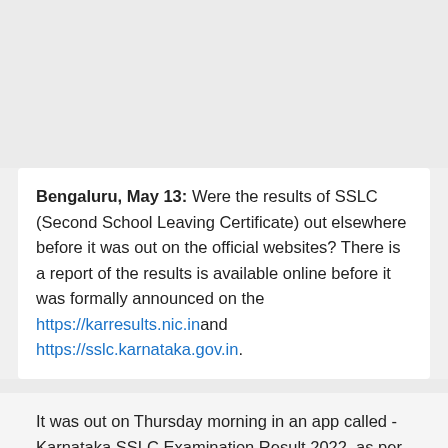Bengaluru, May 13: Were the results of SSLC (Second School Leaving Certificate) out elsewhere before it was out on the official websites? There is a report of the results is available online before it was formally announced on the https://karresults.nic.in and https://sslc.karnataka.gov.in.
It was out on Thursday morning in an app called - Karnataka SSLC Examination Result 2022, as per a report published on Oneindia Kannada, which verified